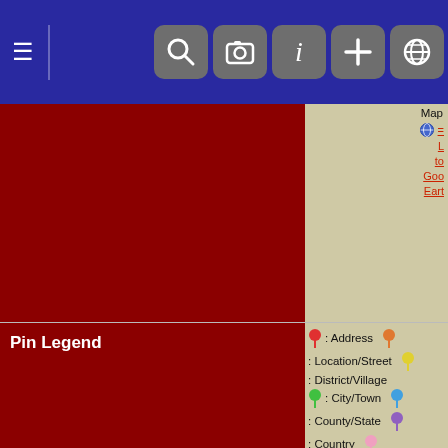[Figure (screenshot): Navigation bar with hamburger menu and icons for search, camera, info, plus, and globe]
[Figure (screenshot): Map area showing a red block on the left and a tan/beige content area on the right with map link to Google Earth]
Pin Legend
: Address  : Location/Street  : District/Village  : City/Town  : County/State  : Country  : Not Set
Sources
[S334] Buckinghamshire FHS, Baptism database (Reliability: 3).
[S26] 1861 England Census, Leighton Buzzard Edlesborough RG9/1009 37 7 (Reliability: 4).
[S27] 1871 England Census, Leighton Buzzard Edlesborough RG10/1565 43 14 (Reliability: 4).
[S19] 1901 England Census, Leicester RG13/2992 18 28 (Reliability: 4).
[S284] 1911 England Census, leicester North East RG14PN19247 RG78PN1151 RD407 SD2 ED30 SN265 (Reliability: 4).
[S334] Buckinghamshire FHS, Marriage...